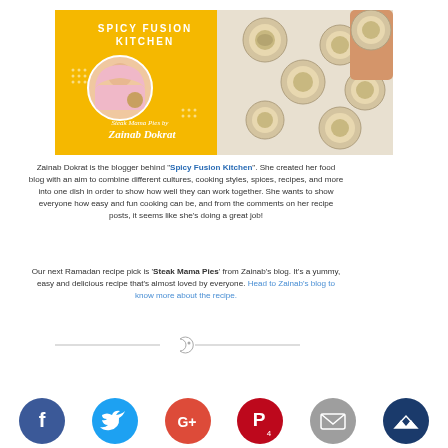[Figure (illustration): Banner graphic with yellow background showing 'Spicy Fusion Kitchen' text at top, a circular photo of a woman in a pink hijab, text 'Steak Mama Pies by Zainab Dokrat' in script font on the left, and a photo of mini pies/tarts on a white background on the right half.]
Zainab Dokrat is the blogger behind "Spicy Fusion Kitchen". She created her food blog with an aim to combine different cultures, cooking styles, spices, recipes, and more into one dish in order to show how well they can work together. She wants to show everyone how easy and fun cooking can be, and from the comments on her recipe posts, it seems like she's doing a great job!
Our next Ramadan recipe pick is 'Steak Mama Pies' from Zainab's blog. It's a yummy, easy and delicious recipe that's almost loved by everyone. Head to Zainab's blog to know more about the recipe.
[Figure (illustration): Decorative divider with a crescent moon and star symbol in the center, flanked by horizontal lines on each side.]
[Figure (infographic): Row of 6 social media share buttons: Facebook (blue circle with f), Twitter (cyan circle with bird), Google+ (orange-red circle with G+), Pinterest (red circle with P and number 4), Email (gray circle with envelope), and a dark blue circle with crown icon.]